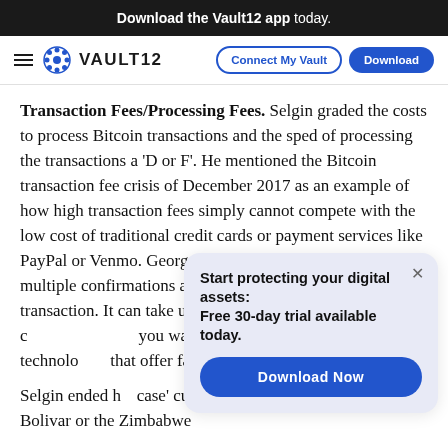Download the Vault12 app today.
VAULT12 | Connect My Vault | Download
Transaction Fees/Processing Fees. Selgin graded the costs to process Bitcoin transactions and the sped of processing the transactions a 'D or F'. He mentioned the Bitcoin transaction fee crisis of December 2017 as an example of how high transaction fees simply cannot compete with the low cost of traditional credit cards or payment services like PayPal or Venmo. George also reminded the audience that multiple confirmations are required to confirm a Bitcoin transaction. It can take up to an hour to get six [confirmations]. If you want to bu[y something with Bitcoin, other technolo]gies have emerged that offer faste[r transactions but do] not match the [security...]
[Figure (infographic): Popup overlay with text 'Start protecting your digital assets: Free 30-day trial available today.' and a 'Download Now' button]
Selgin ended h[is talk by making a] case' currencies like the Venezuelan Bolivar or the Zimbabwe